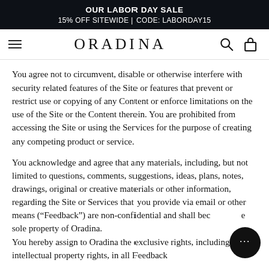OUR LABOR DAY SALE
15% OFF SITEWIDE | CODE: LABORDAY15
ORADINA
You agree not to circumvent, disable or otherwise interfere with security related features of the Site or features that prevent or restrict use or copying of any Content or enforce limitations on the use of the Site or the Content therein. You are prohibited from accessing the Site or using the Services for the purpose of creating any competing product or service.
You acknowledge and agree that any materials, including, but not limited to questions, comments, suggestions, ideas, plans, notes, drawings, original or creative materials or other information, regarding the Site or Services that you provide via email or other means (“Feedback”) are non-confidential and shall become the sole property of Oradina.
You hereby assign to Oradina the exclusive rights, including all intellectual property rights, in all Feedback